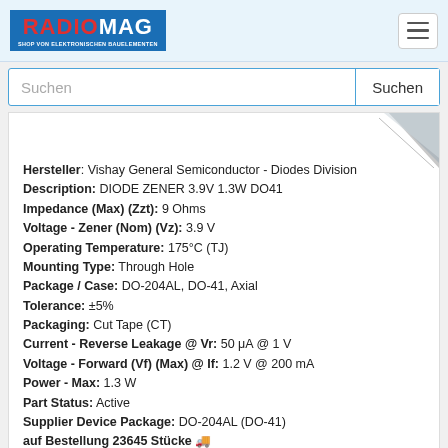RADIOMAG - SHOP VON ELEKTRONISCHEN BAUELEMENTEN
Suchen
[Figure (illustration): Folded corner / ribbon graphic in upper right of product card]
Hersteller: Vishay General Semiconductor - Diodes Division
Description: DIODE ZENER 3.9V 1.3W DO41
Impedance (Max) (Zzt): 9 Ohms
Voltage - Zener (Nom) (Vz): 3.9 V
Operating Temperature: 175°C (TJ)
Mounting Type: Through Hole
Package / Case: DO-204AL, DO-41, Axial
Tolerance: ±5%
Packaging: Cut Tape (CT)
Current - Reverse Leakage @ Vr: 50 μA @ 1 V
Voltage - Forward (Vf) (Max) @ If: 1.2 V @ 200 mA
Power - Max: 1.3 W
Part Status: Active
Supplier Device Package: DO-204AL (DO-41)
auf Bestellung 23645 Stücke 🚛
Lieferzeit 21-28 Tag (e)
auf Bestellung 20000 Stücke - Preis und Lieferfrist anzeigen